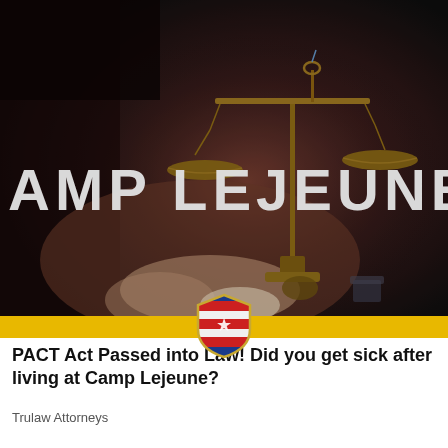[Figure (photo): Dark dramatic photo of a person in suit holding brass justice scales, with large white bold text overlay reading 'CAMP LEJEUNE']
[Figure (logo): Shield logo with American flag design (red, white, blue) positioned overlapping the gold banner bar]
PACT Act Passed into Law! Did you get sick after living at Camp Lejeune?
Trulaw Attorneys